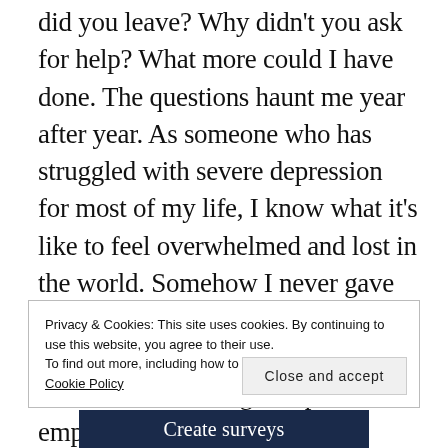did you leave? Why didn't you ask for help? What more could I have done. The questions haunt me year after year. As someone who has struggled with severe depression for most of my life, I know what it's like to feel overwhelmed and lost in the world. Somehow I never gave up. Somehow I just put my head down and kept pushing on. For those that chose to give up, it is the emptiness in the ones they love behind that is so moving to me.
Privacy & Cookies: This site uses cookies. By continuing to use this website, you agree to their use.
To find out more, including how to control cookies, see here: Cookie Policy
Close and accept
[Figure (other): Dark blue banner with white text reading 'Create surveys']